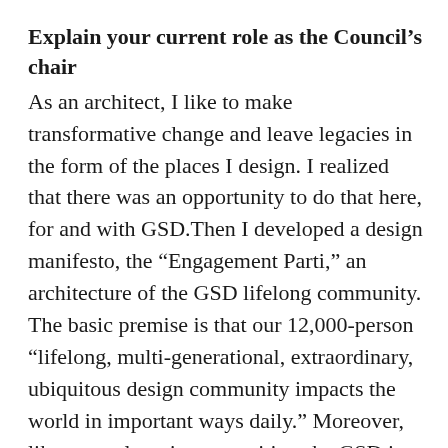Explain your current role as the Council's chair
As an architect, I like to make transformative change and leave legacies in the form of the places I design. I realized that there was an opportunity to do that here, for and with GSD.Then I developed a design manifesto, the “Engagement Parti,” an architecture of the GSD lifelong community. The basic premise is that our 12,000-person “lifelong, multi-generational, extraordinary, ubiquitous design community impacts the world in important ways daily.” Moreover, like most alumni communities, the GSD is a profoundly undervalued asset of the institution. To realize this new paradigm, the Alumni Council had to assume leadership of our community. With the Engagement Parti in place, it